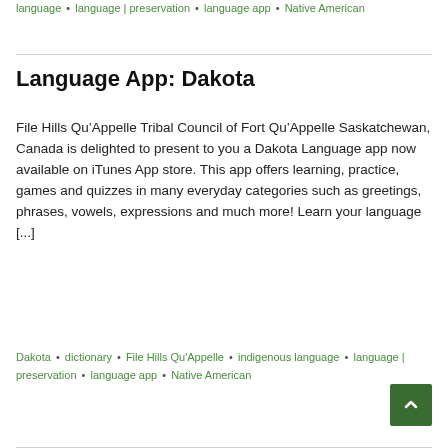language • language | preservation • language app • Native American
Language App: Dakota
File Hills Qu’Appelle Tribal Council of Fort Qu’Appelle Saskatchewan, Canada is delighted to present to you a Dakota Language app now available on iTunes App store. This app offers learning, practice, games and quizzes in many everyday categories such as greetings, phrases, vowels, expressions and much more! Learn your language [...]
Dakota • dictionary • File Hills Qu’Appelle • indigenous language • language | preservation • language app • Native American